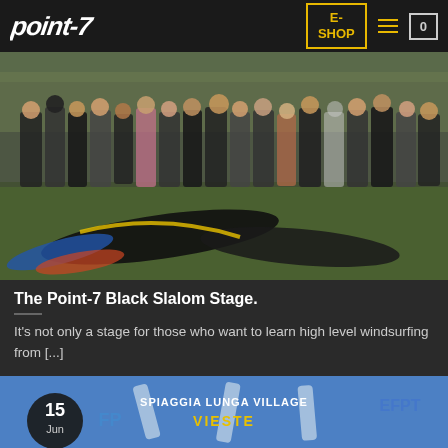[Figure (screenshot): Point-7 website header with logo, E-SHOP button, hamburger menu, and cart icon on dark background]
[Figure (photo): Group photo of windsurfers standing together outdoors on grass with windsurfing equipment in foreground]
The Point-7 Black Slalom Stage.
It's not only a stage for those who want to learn high level windsurfing from [...]
[Figure (photo): Windsurfing event photo showing EFPT Spiaggia Lunga Village Vieste with date badge showing 15 Jun]